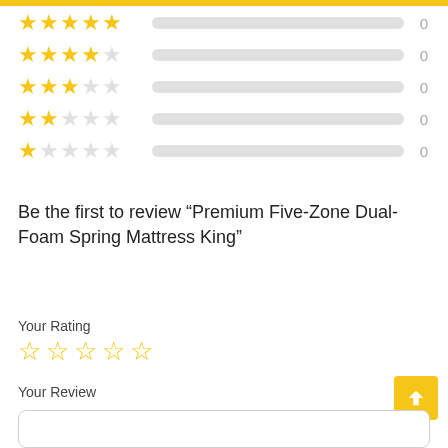[Figure (infographic): Star rating breakdown: 5 rows, each with filled/empty stars, an empty progress bar, and count of 0]
Be the first to review “Premium Five-Zone Dual-Foam Spring Mattress King”
Your Rating
[Figure (infographic): 5 empty star rating input icons]
Your Review
[Figure (infographic): Text area input box for review]